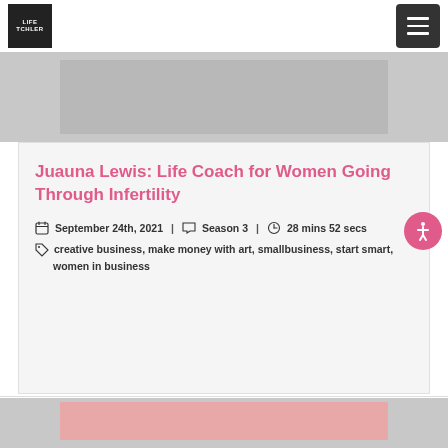[Figure (logo): Logo box with white text on dark background, initials/brand name]
[Figure (photo): Top banner image area, gray placeholder]
Juauna Lewis: Life Coach for Women Going Through Infertility
September 24th, 2021 | Season 3 | 28 mins 52 secs
creative business, make money with art, smallbusiness, start smart, women in business
[Figure (photo): Bottom section pink/salmon colored image area, gray background]